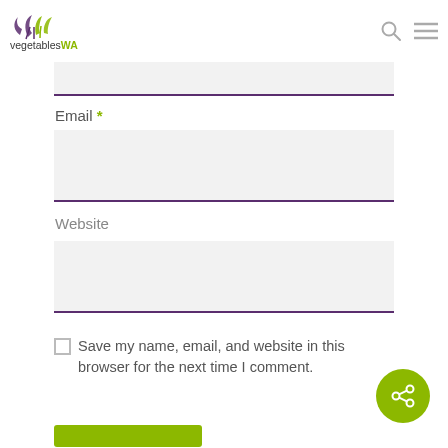[Figure (logo): VegetablesWA logo with stylized leaf/vegetable icon in purple and green above the text 'vegetablesWA']
Email *
Website
Save my name, email, and website in this browser for the next time I comment.